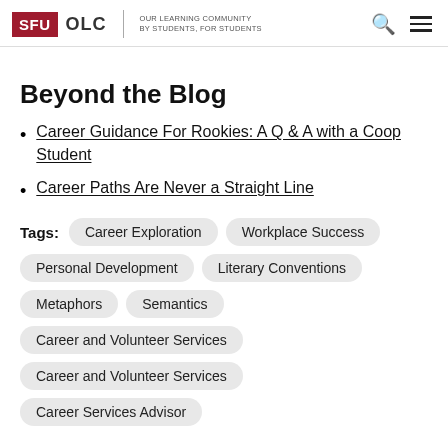SFU OLC | OUR LEARNING COMMUNITY BY STUDENTS, FOR STUDENTS
Beyond the Blog
Career Guidance For Rookies: A Q & A with a Coop Student
Career Paths Are Never a Straight Line
Tags: Career Exploration, Workplace Success, Personal Development, Literary Conventions, Metaphors, Semantics, Career and Volunteer Services, Career and Volunteer Services, Career Services Advisor